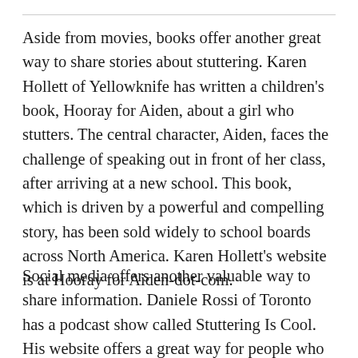Aside from movies, books offer another great way to share stories about stuttering. Karen Hollett of Yellowknife has written a children's book, Hooray for Aiden, about a girl who stutters. The central character, Aiden, faces the challenge of speaking out in front of her class, after arriving at a new school. This book, which is driven by a powerful and compelling story, has been sold widely to school boards across North America. Karen Hollett's website is at Hooray for Aiden-dot-com.
Social media offers another valuable way to share information. Daniele Rossi of Toronto has a podcast show called Stuttering Is Cool. His website offers a great way for people who